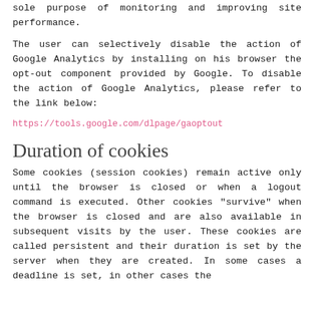sole purpose of monitoring and improving site performance.
The user can selectively disable the action of Google Analytics by installing on his browser the opt-out component provided by Google. To disable the action of Google Analytics, please refer to the link below:
https://tools.google.com/dlpage/gaoptout
Duration of cookies
Some cookies (session cookies) remain active only until the browser is closed or when a logout command is executed. Other cookies "survive" when the browser is closed and are also available in subsequent visits by the user. These cookies are called persistent and their duration is set by the server when they are created. In some cases a deadline is set, in other cases the